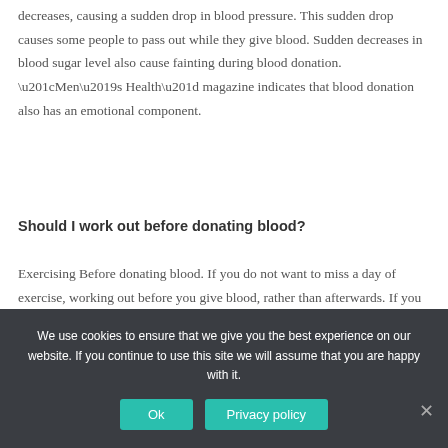decreases, causing a sudden drop in blood pressure. This sudden drop causes some people to pass out while they give blood. Sudden decreases in blood sugar level also cause fainting during blood donation. “Men’s Health” magazine indicates that blood donation also has an emotional component.
Should I work out before donating blood?
Exercising Before donating blood. If you do not want to miss a day of exercise, working out before you give blood, rather than afterwards. If you
We use cookies to ensure that we give you the best experience on our website. If you continue to use this site we will assume that you are happy with it.